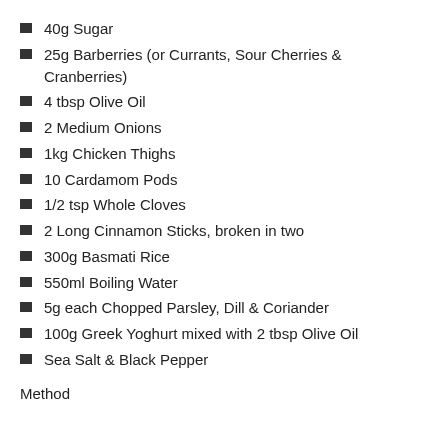40g Sugar
25g Barberries (or Currants, Sour Cherries & Cranberries)
4 tbsp Olive Oil
2 Medium Onions
1kg Chicken Thighs
10 Cardamom Pods
1/2 tsp Whole Cloves
2 Long Cinnamon Sticks, broken in two
300g Basmati Rice
550ml Boiling Water
5g each Chopped Parsley, Dill & Coriander
100g Greek Yoghurt mixed with 2 tbsp Olive Oil
Sea Salt & Black Pepper
Method